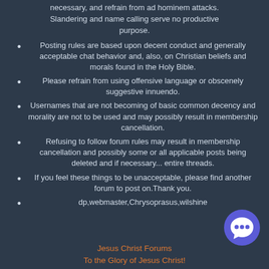necessary, and refrain from ad hominem attacks. Slandering and name calling serve no productive purpose.
Posting rules are based upon decent conduct and generally acceptable chat behavior and, also, on Christian beliefs and morals found in the Holy Bible.
Please refrain from using offensive language or obscenely suggestive innuendo.
Usernames that are not becoming of basic common decency and morality are not to be used and may possibly result in membership cancellation.
Refusing to follow forum rules may result in membership cancellation and possibly some or all applicable posts being deleted and if necessary... entire threads.
If you feel these things to be unacceptable, please find another forum to post on.Thank you.
dp,webmaster,Chrysoprasus,wilshine
Jesus Christ Forums
To the Glory of Jesus Christ!